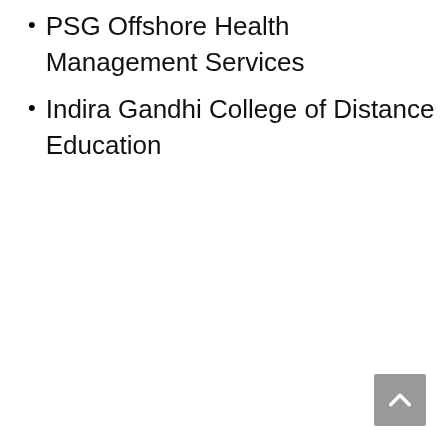PSG Offshore Health Management Services
Indira Gandhi College of Distance Education